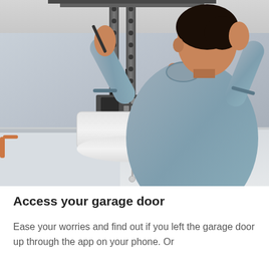[Figure (photo): A man in a grey t-shirt installing or working on a garage door opener motor unit mounted on the ceiling. He is reaching up with both hands to work on the metal rail/track. A white motor housing unit is visible below the rail.]
Access your garage door
Ease your worries and find out if you left the garage door up through the app on your phone. Or